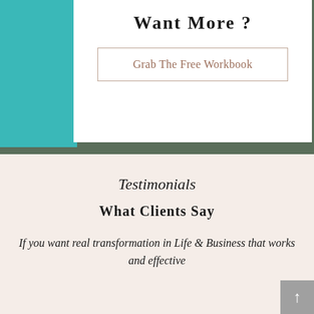Want More ?
Grab The Free Workbook
[Figure (photo): Background photo showing person wearing olive/khaki clothing with teal background on the left side]
Testimonials
What Clients Say
If you want real transformation in Life & Business that works and effective